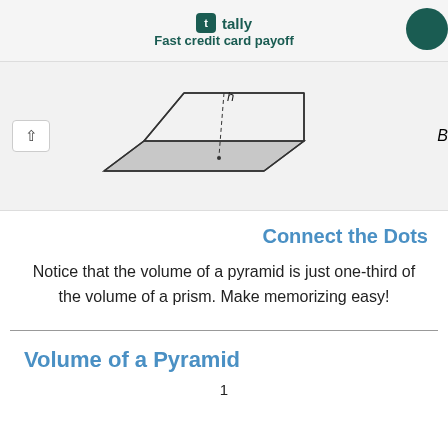[Figure (screenshot): Tally app advertisement banner with logo and tagline 'Fast credit card payoff']
[Figure (illustration): A geometric diagram of a prism/pyramid base shape (trapezoid-like solid) with a dashed line inside indicating height, labeled with 'h' at top and 'B' at the bottom-right]
Connect the Dots
Notice that the volume of a pyramid is just one-third of the volume of a prism. Make memorizing easy!
Volume of a Pyramid